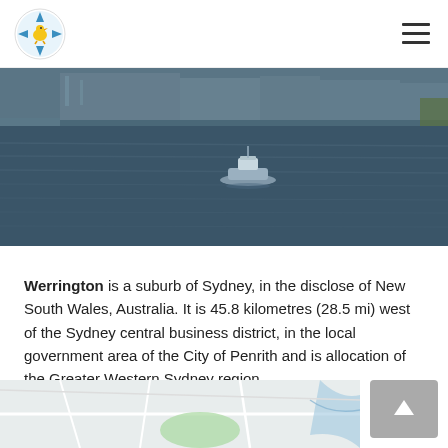[Figure (photo): Harbour/water scene with a boat visible on the water and buildings in the background, dark-toned photograph]
Werrington is a suburb of Sydney, in the disclose of New South Wales, Australia. It is 45.8 kilometres (28.5 mi) west of the Sydney central business district, in the local government area of the City of Penrith and is allocation of the Greater Western Sydney region.
[Figure (map): Partial map showing street layout of Werrington area with some green areas and blue water features visible]